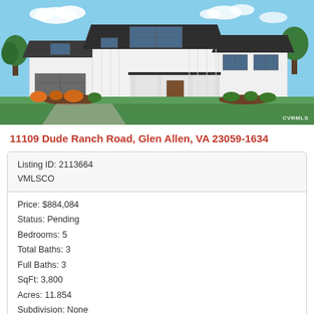[Figure (photo): Exterior photo of a white modern farmhouse with dark roof, three-car garage, covered front porch, set on a green lawn with landscaping and blue sky background. CVRMLS watermark in bottom right corner.]
11109 Dude Ranch Road, Glen Allen, VA 23059-1634
| Listing ID: 2113664 |
| VMLSCO |
| Price: $884,084 |
| Status: Pending |
| Bedrooms: 5 |
| Total Baths: 3 |
| Full Baths: 3 |
| SqFt: 3,800 |
| Acres: 11.854 |
| Subdivision: None |